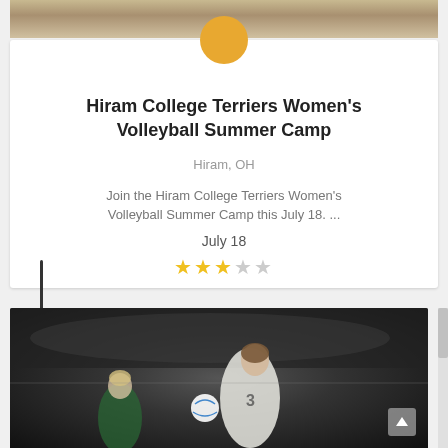[Figure (photo): Top strip of a volleyball court photo showing players' legs and feet on a hardwood court]
Hiram College Terriers Women's Volleyball Summer Camp
Hiram, OH
Join the Hiram College Terriers Women's Volleyball Summer Camp this July 18. ...
July 18
★★★☆☆
[Figure (photo): Female volleyball player in white jersey #3 digging/bumping the ball on a dark indoor court, another player visible behind her]